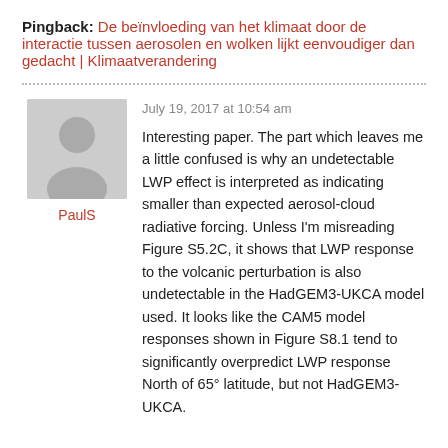Pingback: De beïnvloeding van het klimaat door de interactie tussen aerosolen en wolken lijkt eenvoudiger dan gedacht | Klimaatverandering
[Figure (illustration): Grey avatar placeholder icon showing silhouette of a person (head and shoulders) on a light grey square background]
PaulS
July 19, 2017 at 10:54 am
Interesting paper. The part which leaves me a little confused is why an undetectable LWP effect is interpreted as indicating smaller than expected aerosol-cloud radiative forcing. Unless I'm misreading Figure S5.2C, it shows that LWP response to the volcanic perturbation is also undetectable in the HadGEM3-UKCA model used. It looks like the CAM5 model responses shown in Figure S8.1 tend to significantly overpredict LWP response North of 65° latitude, but not HadGEM3-UKCA.